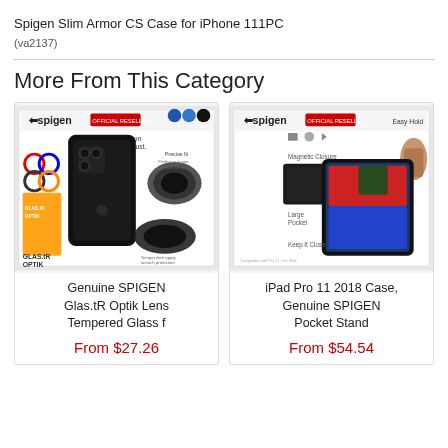Spigen Slim Armor CS Case for iPhone 111PC
(va2137)
More From This Category
[Figure (photo): Product image of Genuine SPIGEN Glas.tR Optik Lens Tempered Glass for iPhone with Spigen official reseller branding, showing black camera lens protectors and packaging.]
Genuine SPIGEN Glas.tR Optik Lens Tempered Glass f
From $27.26
[Figure (photo): Product image of iPad Pro 11 2018 Case, Genuine SPIGEN Pocket Stand with Spigen official reseller branding, showing black folio case with tablet and Easy Hold, Magnetic Closure, Large Pocket, Keep It Close features.]
iPad Pro 11 2018 Case, Genuine SPIGEN Pocket Stand
From $54.54